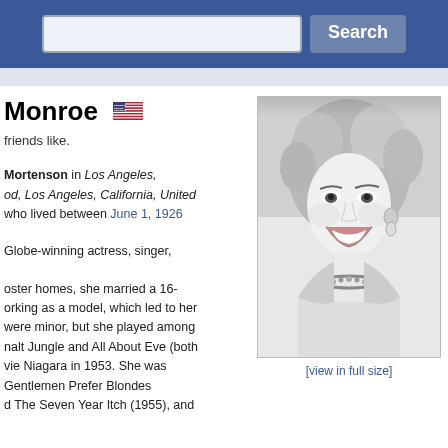Search
Monroe 🇺🇸
friends like.
Mortenson in Los Angeles, od, Los Angeles, California, United who lived between June 1, 1926
Globe-winning actress, singer,
oster homes, she married a 16- orking as a model, which led to her were minor, but she played among nalt Jungle and All About Eve (both vie Niagara in 1953. She was Gentlemen Prefer Blondes d The Seven Year Itch (1955), and
[Figure (photo): Black and white portrait photo of Marilyn Monroe laughing, wearing jewelry]
[view in full size]